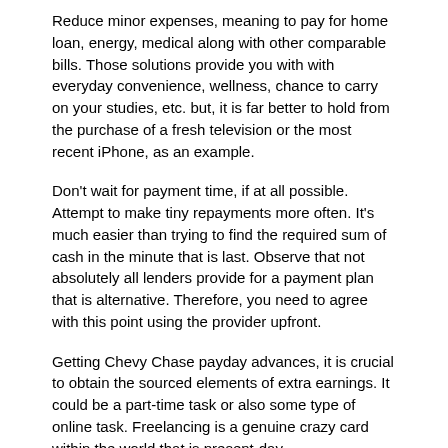Reduce minor expenses, meaning to pay for home loan, energy, medical along with other comparable bills. Those solutions provide you with with everyday convenience, wellness, chance to carry on your studies, etc. but, it is far better to hold from the purchase of a fresh television or the most recent iPhone, as an example.
Don't wait for payment time, if at all possible. Attempt to make tiny repayments more often. It's much easier than trying to find the required sum of cash in the minute that is last. Observe that not absolutely all lenders provide for a payment plan that is alternative. Therefore, you need to agree with this point using the provider upfront.
Getting Chevy Chase payday advances, it is crucial to obtain the sourced elements of extra earnings. It could be a part-time task or also some type of online task. Freelancing is a genuine crazy card within the world that is present-day.
Don't re re solve a nagging problem with the aid of another pay day loan. It helps you save the problem for the previous issue but produces the second one. Why change sewed from the detergent?
It is feasible to utilize 0% interest charge cards to facilitate